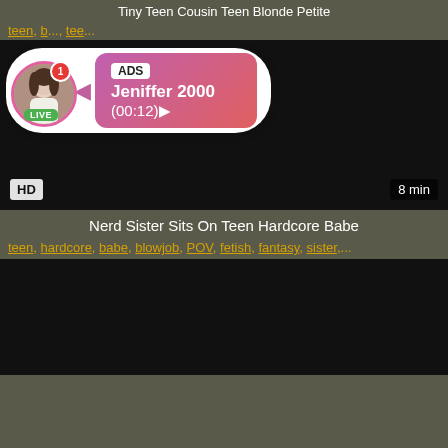Tiny Teen Cousin Teen Blonde Petite
teen, b..., tee...
[Figure (screenshot): Dark video player with HD badge and 8 min duration, overlaid with an ad popup showing a live profile picture of a woman with LIVE badge, notification bubble (1), ADS label, name Jeniffer 2000, and time (00:12)]
Nerd Sister Sits On Teen Hardcore Babe
teen, hardcore, babe, blowjob, POV, fetish, fantasy, sister,...
[Figure (screenshot): Dark video player thumbnail]